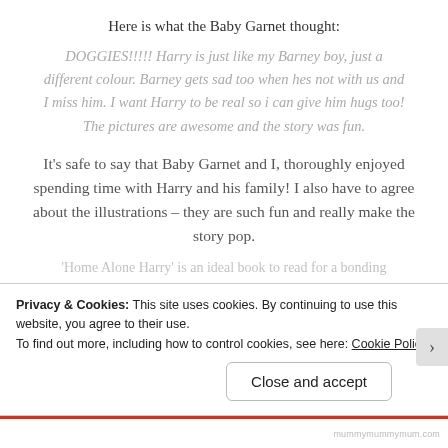Here is what the Baby Garnet thought:
DOGGIES!!!!! Harry is just like my Barney boy, just a different colour. Barney gets sad too when hes not with us and I miss him. I want Harry to be real so i can give him hugs too! The pictures are awesome and the story was fun.
It’s safe to say that Baby Garnet and I, thoroughly enjoyed spending time with Harry and his family! I also have to agree about the illustrations – they are such fun and really make the story pop.
‘Home Alone Harry’ is an ideal book to read for a bonding...
Privacy & Cookies: This site uses cookies. By continuing to use this website, you agree to their use.
To find out more, including how to control cookies, see here: Cookie Policy
Close and accept